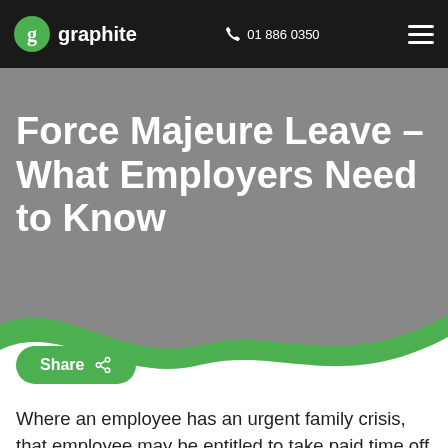graphite | 01 886 0350
Force Majeure Leave – What Employers Need to Know
[Figure (other): Green share button with share icon]
Where an employee has an urgent family crisis, that employee may be entitled to take paid time off work to attend to that emergency. This is known as Force Majeure